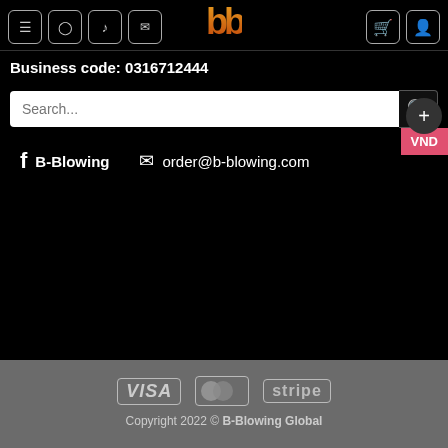[Figure (logo): B-Blowing logo with two stylized 'b' letters in orange-gold gradient color on black background]
Business code: 0316712444
Search...
f B-Blowing
order@b-blowing.com
VND
[Figure (infographic): Payment logos: VISA, MasterCard, stripe]
Copyright 2022 © B-Blowing Global